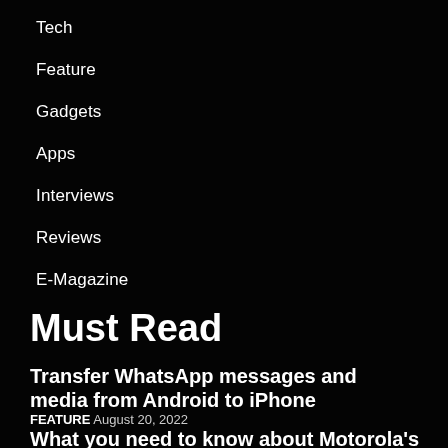Tech
Feature
Gadgets
Apps
Interviews
Reviews
E-Magazine
Must Read
Transfer WhatsApp messages and media from Android to iPhone
FEATURE  August 20, 2022
What you need to know about Motorola's Edge 2022 and the Moto Tab Prime tablet LTE